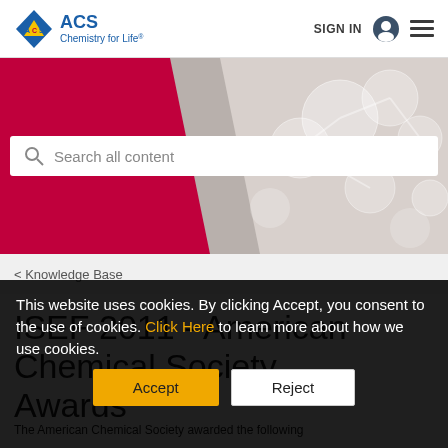[Figure (logo): ACS Chemistry for Life logo with diamond/flask icon in blue/gold and ACS text in blue]
SIGN IN
[Figure (photo): Red/crimson hero banner with glass molecular spheres on right side and search box overlay]
Search all content
< Knowledge Base
ISEF 2011 - American Chemical Society Award
The American Chemical Society awarded the following
This website uses cookies. By clicking Accept, you consent to the use of cookies. Click Here to learn more about how we use cookies.